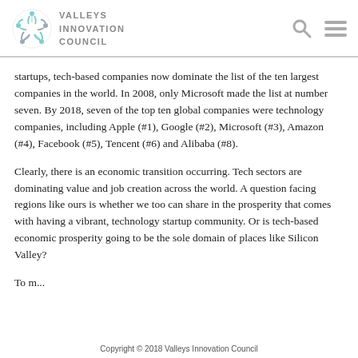Valleys Innovation Council
startups, tech-based companies now dominate the list of the ten largest companies in the world. In 2008, only Microsoft made the list at number seven. By 2018, seven of the top ten global companies were technology companies, including Apple (#1), Google (#2), Microsoft (#3), Amazon (#4), Facebook (#5), Tencent (#6) and Alibaba (#8).
Clearly, there is an economic transition occurring. Tech sectors are dominating value and job creation across the world. A question facing regions like ours is whether we too can share in the prosperity that comes with having a vibrant, technology startup community. Or is tech-based economic prosperity going to be the sole domain of places like Silicon Valley?
To m...
Copyright © 2018 Valleys Innovation Council